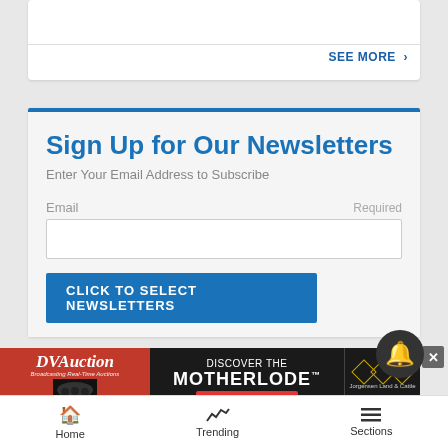SEE MORE ›
Sign Up for Our Newsletters
Enter Your Email Address to Subscribe
Email    Required
CLICK TO SELECT NEWSLETTERS
[Figure (screenshot): DVAuction advertisement banner: 'Discover the Motherlode - Get More Details' with Jorgensen Land & Cattle logo]
Home   Trending   Sections